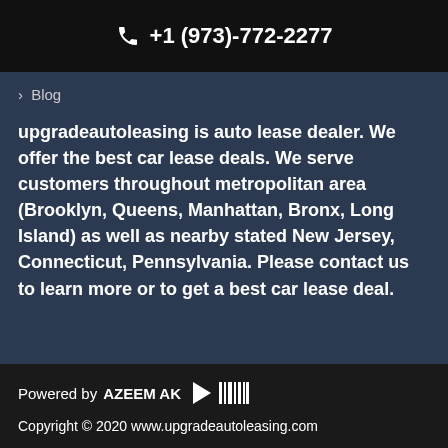+1 (973)-772-2277
> Blog
upgradeautoleasing is auto lease dealer. We offer the best car lease deals. We serve customers throughout metropolitan area (Brooklyn, Queens, Manhattan, Bronx, Long Island) as well as nearby stated New Jersey, Connecticut, Pennsylvania. Please contact us to learn more or to get a best car lease deal.
Powered by AZEEM AK
Copyright © 2020 www.upgradeautoleasing.com